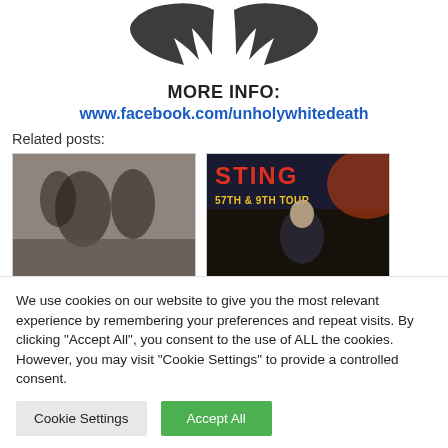[Figure (illustration): Decorative wing/feather graphic at the top center of the page, dark ink style on white background]
MORE INFO:
www.facebook.com/unholywhitedeath
Related posts:
[Figure (photo): Black and white photo of musicians performing]
[Figure (photo): Sting 57th & 9th Tour promotional image with artist photo]
We use cookies on our website to give you the most relevant experience by remembering your preferences and repeat visits. By clicking “Accept All”, you consent to the use of ALL the cookies. However, you may visit "Cookie Settings" to provide a controlled consent.